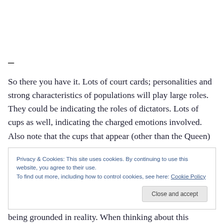–
So there you have it. Lots of court cards; personalities and strong characteristics of populations will play large roles. They could be indicating the roles of dictators. Lots of cups as well, indicating the charged emotions involved. Also note that the cups that appear (other than the Queen)
Privacy & Cookies: This site uses cookies. By continuing to use this website, you agree to their use.
To find out more, including how to control cookies, see here: Cookie Policy
Close and accept
being grounded in reality. When thinking about this